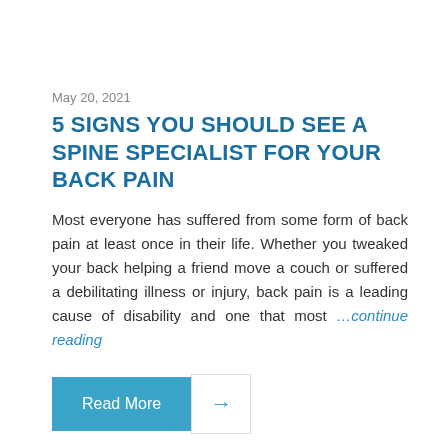May 20, 2021
5 SIGNS YOU SHOULD SEE A SPINE SPECIALIST FOR YOUR BACK PAIN
Most everyone has suffered from some form of back pain at least once in their life. Whether you tweaked your back helping a friend move a couch or suffered a debilitating illness or injury, back pain is a leading cause of disability and one that most …continue reading
Read More →